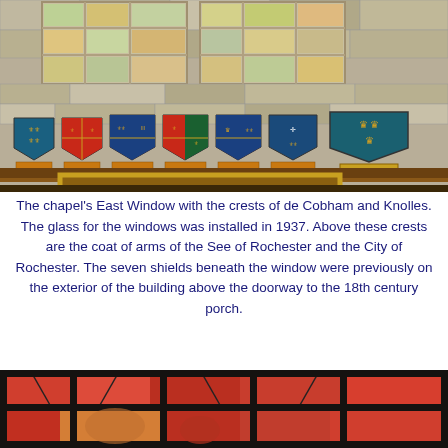[Figure (photo): Interior photo of a chapel showing the East Window with stained glass panes at top, a stone wall below the window, and seven heraldic shields mounted on the wall beneath the window. A gilded picture frame is visible at the bottom of the image. A label reading 'ST EDMUND' is visible on the rightmost shield's base.]
The chapel's East Window with the crests of de Cobham and Knolles. The glass for the windows was installed in 1937. Above these crests are the coat of arms of the See of Rochester and the City of Rochester. The seven shields beneath the window were previously on the exterior of the building above the doorway to the 18th century porch.
[Figure (photo): Close-up photo of stained glass viewed through iron window bars. The stained glass appears to show decorative figures with red and warm-toned coloring.]